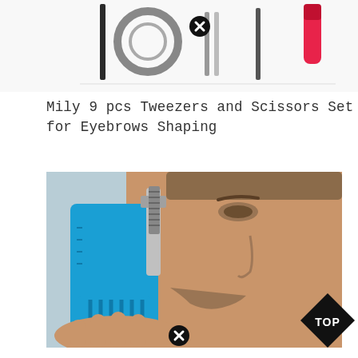[Figure (photo): Top strip showing tweezers, scissors, and beauty tool set products on white background]
Mily 9 pcs Tweezers and Scissors Set for Eyebrows Shaping
[Figure (photo): Man using a blue beard shaping tool comb while shaving with a safety razor against his face, with a TOP badge in the lower right corner]